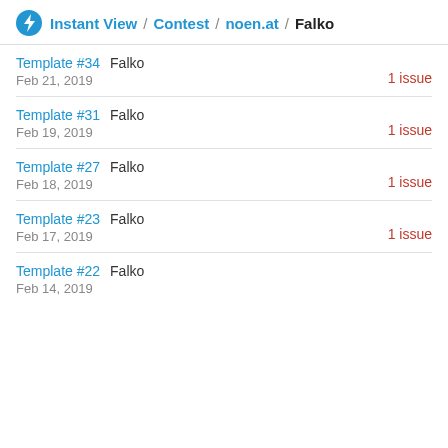Instant View / Contest / noen.at / Falko
Template #34  Falko
Feb 21, 2019  1 issue
Template #31  Falko
Feb 19, 2019  1 issue
Template #27  Falko
Feb 18, 2019  1 issue
Template #23  Falko
Feb 17, 2019  1 issue
Template #22  Falko
Feb 14, 2019